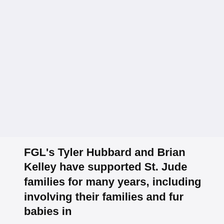[Figure (photo): Large image area at top of page (content not visible, light gray background)]
FGL's Tyler Hubbard and Brian Kelley have supported St. Jude families for many years, including involving their families and fur babies in